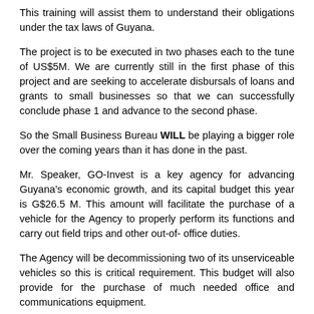This training will assist them to understand their obligations under the tax laws of Guyana.
The project is to be executed in two phases each to the tune of US$5M. We are currently still in the first phase of this project and are seeking to accelerate disbursals of loans and grants to small businesses so that we can successfully conclude phase 1 and advance to the second phase.
So the Small Business Bureau WILL be playing a bigger role over the coming years than it has done in the past.
Mr. Speaker, GO-Invest is a key agency for advancing Guyana’s economic growth, and its capital budget this year is G$26.5 M. This amount will facilitate the purchase of a vehicle for the Agency to properly perform its functions and carry out field trips and other out-of- office duties.
The Agency will be decommissioning two of its unserviceable vehicles so this is critical requirement. This budget will also provide for the purchase of much needed office and communications equipment.